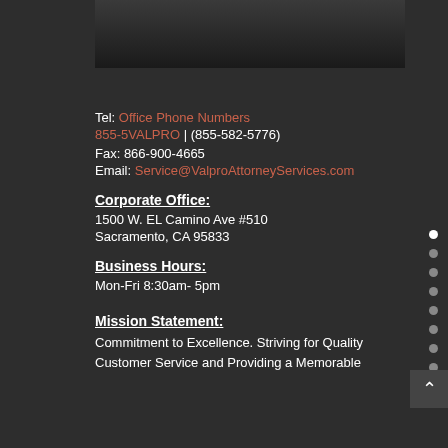[Figure (photo): Partial photo of a person visible at top of page, dark background]
Tel: Office Phone Numbers
855-5VALPRO | (855-582-5776)
Fax: 866-900-4665
Email: Service@ValproAttorneyServices.com
Corporate Office:
1500 W. EL Camino Ave #510
Sacramento, CA 95833
Business Hours:
Mon-Fri 8:30am- 5pm
Mission Statement:
Commitment to Excellence. Striving for Quality Customer Service and Providing a Memorable